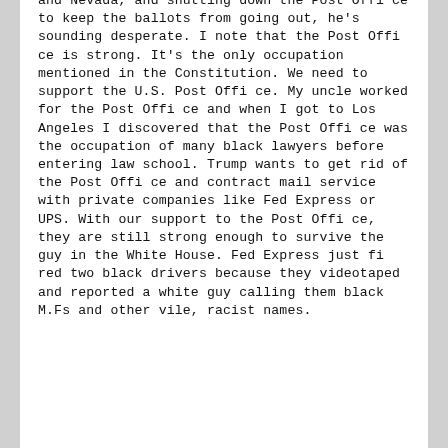and Nevada, and shutting down the Post Office to keep the ballots from going out, he's sounding desperate. I note that the Post Office is strong. It's the only occupation mentioned in the Constitution. We need to support the U.S. Post Office. My uncle worked for the Post Office and when I got to Los Angeles I discovered that the Post Office was the occupation of many black lawyers before entering law school. Trump wants to get rid of the Post Office and contract mail service with private companies like Fed Express or UPS. With our support to the Post Office, they are still strong enough to survive the guy in the White House. Fed Express just fired two black drivers because they videotaped and reported a white guy calling them black M.Fs and other vile, racist names.